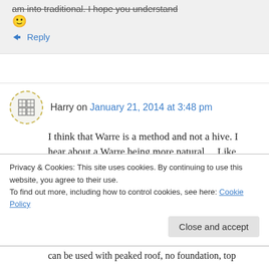am into traditional. I hope you understand 🙂
↳ Reply
Harry on January 21, 2014 at 3:48 pm
I think that Warre is a method and not a hive. I hear about a Warre being more natural… Like
Privacy & Cookies: This site uses cookies. By continuing to use this website, you agree to their use. To find out more, including how to control cookies, see here: Cookie Policy
Close and accept
can be used with peaked roof, no foundation, top